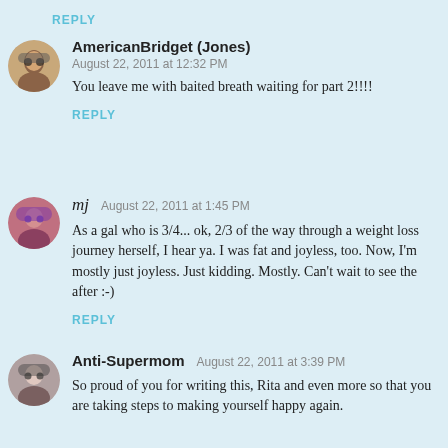REPLY
AmericanBridget (Jones)
August 22, 2011 at 12:32 PM
You leave me with baited breath waiting for part 2!!!!
REPLY
mj  August 22, 2011 at 1:45 PM
As a gal who is 3/4... ok, 2/3 of the way through a weight loss journey herself, I hear ya. I was fat and joyless, too. Now, I'm mostly just joyless. Just kidding. Mostly. Can't wait to see the after :-)
REPLY
Anti-Supermom  August 22, 2011 at 3:39 PM
So proud of you for writing this, Rita and even more so that you are taking steps to making yourself happy again.